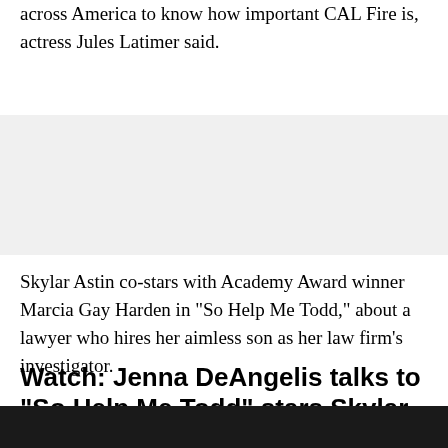across America to know how important CAL Fire is, actress Jules Latimer said.
[Figure (other): Gray background advertisement or placeholder band]
Skylar Astin co-stars with Academy Award winner Marcia Gay Harden in "So Help Me Todd," about a lawyer who hires her aimless son as her law firm's investigator.
Watch: Jenna DeAngelis talks to "So Help Me Todd" stars Skylar Astin and Marcia Gay Harden